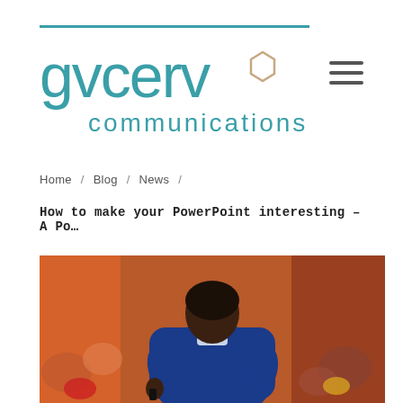[Figure (logo): gvcerv communications logo in teal/cyan color with hexagon accent element]
Home / Blog / News /
How to make your PowerPoint interesting – A Po…
[Figure (photo): A presenter in a blue suit seen from behind, holding a clicker, addressing a blurred audience in a conference setting with orange/warm background lighting]